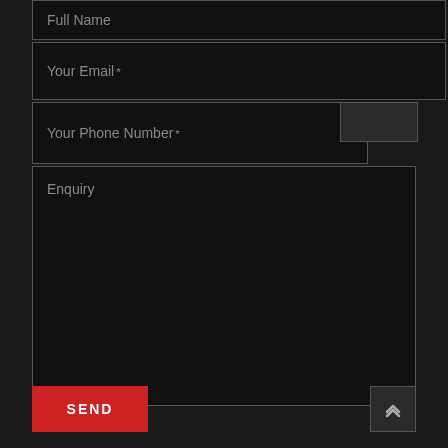Full Name
Your Email *
Your Phone Number *
Enquiry
SEND